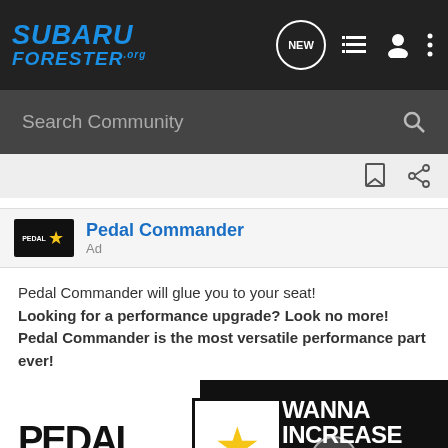[Figure (screenshot): SubaruForester.org website navigation bar with logo and icons]
Search Community
[Figure (logo): Pedal Commander logo with star icon]
Pedal Commander
Ad
Pedal Commander will glue you to your seat! Looking for a performance upgrade? Look no more! Pedal Commander is the most versatile performance part ever!
[Figure (photo): Pedal Commander advertisement banner showing PEDAL COMMANDER logo with star and text WANNA INCREASE YOUR 0-60?]
[Figure (photo): Nitto All-New Nomad Grappler Crossover-Terrain Tire advertisement strip at bottom]